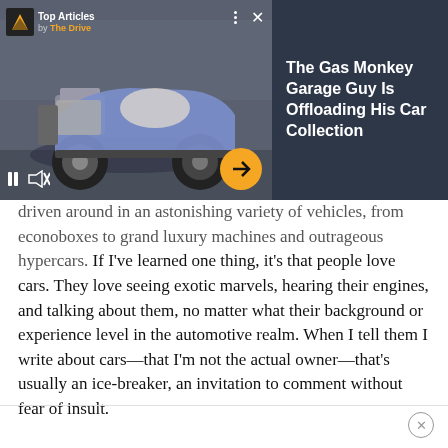[Figure (screenshot): Video player showing a custom hot rod/rat rod purple car in a garage. Overlaid with Top Articles by The Drive badge top-left, three dots and X top-right, pause and mute controls bottom-left, orange arrow button bottom-right.]
The Gas Monkey Garage Guy Is Offloading His Car Collection
driven around in an astonishing variety of vehicles, from econoboxes to grand luxury machines and outrageous hypercars. If I've learned one thing, it's that people love cars. They love seeing exotic marvels, hearing their engines, and talking about them, no matter what their background or experience level in the automotive realm. When I tell them I write about cars—that I'm not the actual owner—that's usually an ice-breaker, an invitation to comment without fear of insult.